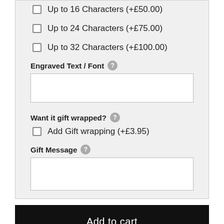Up to 16 Characters (+£50.00)
Up to 24 Characters (+£75.00)
Up to 32 Characters (+£100.00)
Engraved Text / Font
Want it gift wrapped?
Add Gift wrapping (+£3.95)
Gift Message
Add to cart
Description
Heart Empty Glass Locket - The Ultimate Way to Cherish